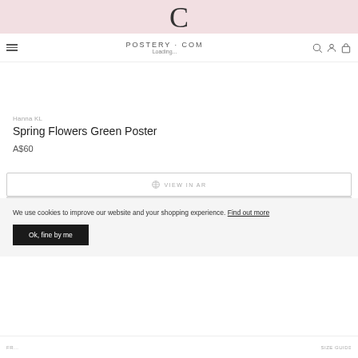POSTERY · COM  Loading...
Hanna KL
Spring Flowers Green Poster
A$60
VIEW IN AR
We use cookies to improve our website and your shopping experience. Find out more
Ok, fine by me
ADD TO CART